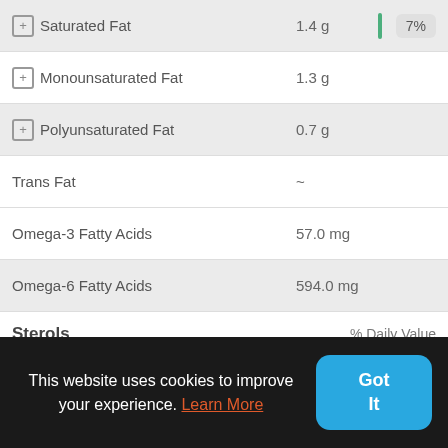| Nutrient | Amount | % Daily Value |
| --- | --- | --- |
| + Saturated Fat | 1.4 g | 7% |
| + Monounsaturated Fat | 1.3 g |  |
| + Polyunsaturated Fat | 0.7 g |  |
| Trans Fat | ~ |  |
| Omega-3 Fatty Acids | 57.0 mg |  |
| Omega-6 Fatty Acids | 594.0 mg |  |
Sterols
| Nutrient | Amount | % Daily Value |
| --- | --- | --- |
| Cholesterol | 0.0 mg | 0% |
| Phytosterols | ~ |  |
This website uses cookies to improve your experience. Learn More
Got It